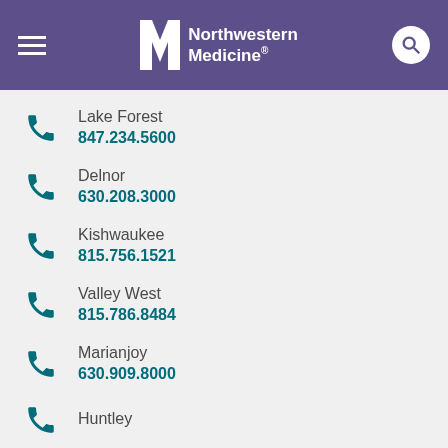Northwestern Medicine
Lake Forest
847.234.5600
Delnor
630.208.3000
Kishwaukee
815.756.1521
Valley West
815.786.8484
Marianjoy
630.909.8000
Huntley